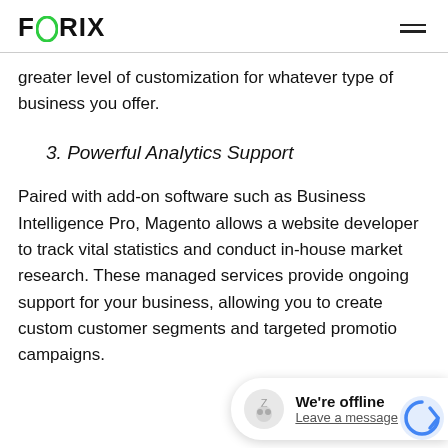FORIX
greater level of customization for whatever type of business you offer.
3. Powerful Analytics Support
Paired with add-on software such as Business Intelligence Pro, Magento allows a website developer to track vital statistics and conduct in-house market research. These managed services provide ongoing support for your business, allowing you to create custom customer segments and targeted promotion campaigns.